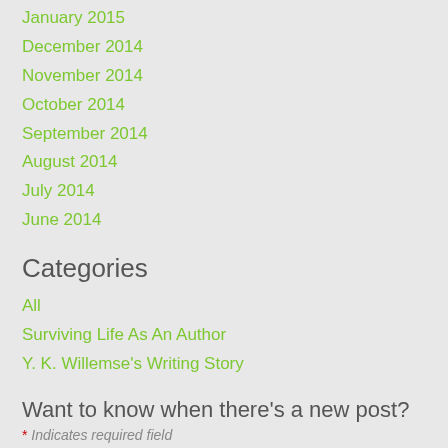January 2015
December 2014
November 2014
October 2014
September 2014
August 2014
July 2014
June 2014
Categories
All
Surviving Life As An Author
Y. K. Willemse's Writing Story
Want to know when there's a new post?
* Indicates required field
Name *